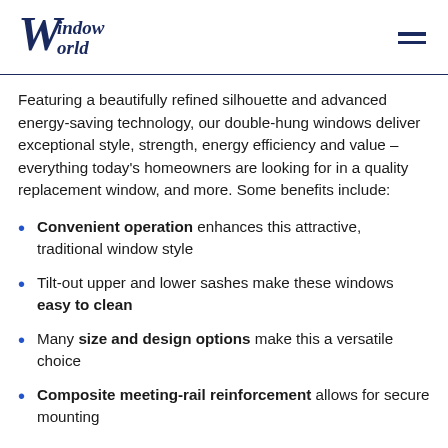Window World
Featuring a beautifully refined silhouette and advanced energy-saving technology, our double-hung windows deliver exceptional style, strength, energy efficiency and value – everything today's homeowners are looking for in a quality replacement window, and more. Some benefits include:
Convenient operation enhances this attractive, traditional window style
Tilt-out upper and lower sashes make these windows easy to clean
Many size and design options make this a versatile choice
Composite meeting-rail reinforcement allows for secure mounting